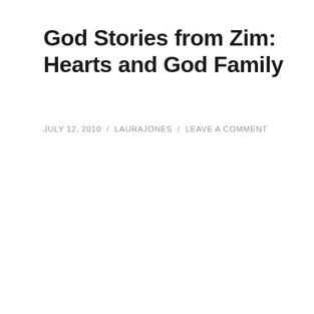God Stories from Zim: Hearts and God Family
JULY 12, 2010 / LAURAJONES / LEAVE A COMMENT